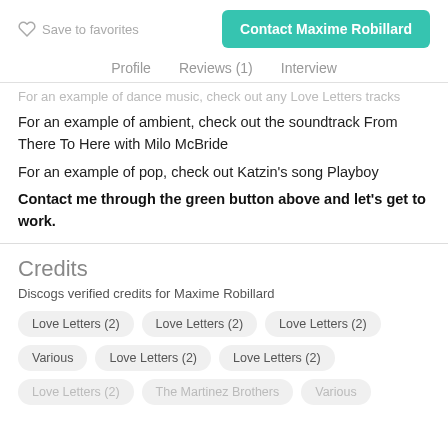Save to favorites | Contact Maxime Robillard
Profile | Reviews (1) | Interview
For an example of dance music, check out any Love Letters tracks
For an example of ambient, check out the soundtrack From There To Here with Milo McBride
For an example of pop, check out Katzin's song Playboy
Contact me through the green button above and let's get to work.
Credits
Discogs verified credits for Maxime Robillard
Love Letters (2)
Love Letters (2)
Love Letters (2)
Various
Love Letters (2)
Love Letters (2)
Love Letters (2)
The Martinez Brothers
Various